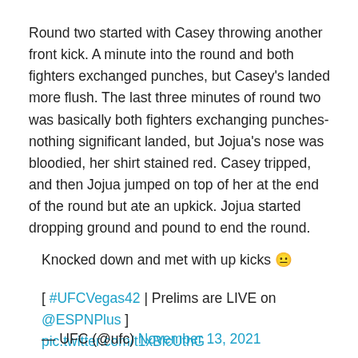Round two started with Casey throwing another front kick. A minute into the round and both fighters exchanged punches, but Casey's landed more flush. The last three minutes of round two was basically both fighters exchanging punches- nothing significant landed, but Jojua's nose was bloodied, her shirt stained red. Casey tripped, and then Jojua jumped on top of her at the end of the round but ate an upkick. Jojua started dropping ground and pound to end the round.
Knocked down and met with up kicks 😐
[ #UFCVegas42 | Prelims are LIVE on @ESPNPlus ] pic.twitter.com/t1xBlcUthG
— UFC (@ufc) November 13, 2021
Round three started with Jojua knowing she had to finish the